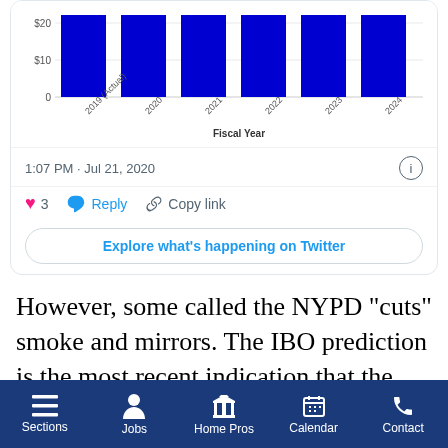[Figure (screenshot): Twitter/X embedded card showing a bar chart of NYPD fiscal year budget data (2019 Actual through 2024), with y-axis showing $0, $10, $20, and x-axis labeled 'Fiscal Year'. Blue vertical bars for each year. Timestamp 1:07 PM · Jul 21, 2020 with info icon, then heart (3), Reply, Copy link actions, and 'Explore what's happening on Twitter' button.]
However, some called the NYPD “cuts” smoke and mirrors. The IBO prediction is the most recent indication that the city used fuzzy math to reimagine the NYPD costs during this year’s budget process.
Sections  Jobs  Home Pros  Calendar  Contact